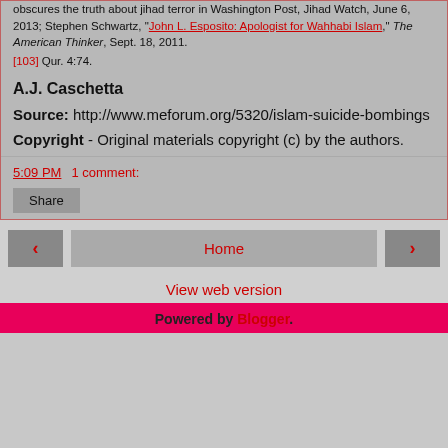obscures the truth about jihad terror in Washington Post, Jihad Watch, June 6, 2013; Stephen Schwartz, "John L. Esposito: Apologist for Wahhabi Islam," The American Thinker, Sept. 18, 2011.
[103] Qur. 4:74.
A.J. Caschetta
Source: http://www.meforum.org/5320/islam-suicide-bombings
Copyright - Original materials copyright (c) by the authors.
5:09 PM   1 comment:
Share
Home
View web version
Powered by Blogger.